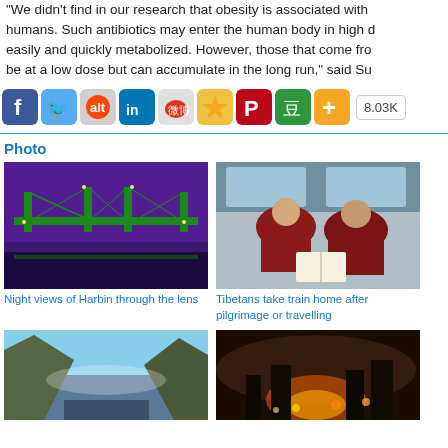We didn't find in our research that obesity is associated with humans. Such antibiotics may enter the human body in high d easily and quickly metabolized. However, those that come fro be at a low dose but can accumulate in the long run," said Su
[Figure (infographic): Social media sharing icons row: Facebook (blue), Twitter (light blue), Reddit (orange-red), LinkedIn (blue), Weibo (red), Favorites star (orange), Pinterest (red), Douban (green), Add/More (orange). Share count: 8.03K]
Photo
[Figure (photo): Night view of Harbin illuminated bridge with green lights against purple sky]
Night views of Harbin through the lens
[Figure (photo): Two Tibetan monks in red robes sitting on train seats reading a book]
Tibetans take train home after pilgrimage or travelling
[Figure (photo): Mountain gorge landscape with rocky cliffs and blue sky]
[Figure (photo): City scene with smoke and fire at night with lights]